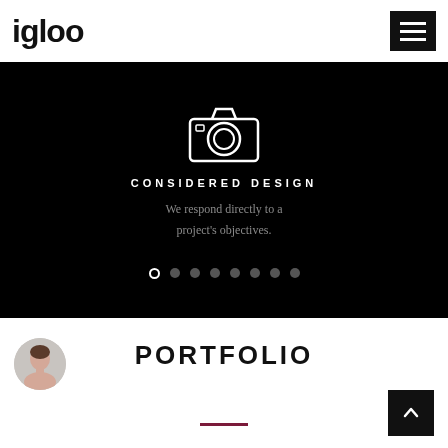igloo
[Figure (screenshot): Black hero slider section with a camera icon outline, bold white text 'CONSIDERED DESIGN', grey subtitle text 'We respond directly to a project's objectives.', and 8 navigation dots at the bottom (first dot is an open circle, rest are filled grey).]
PORTFOLIO
[Figure (photo): Small circular avatar portrait photo of a woman, positioned to the left of the PORTFOLIO title.]